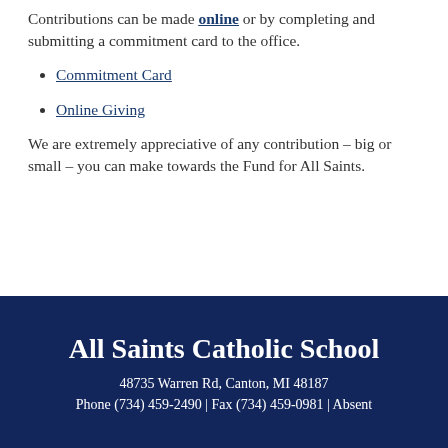Contributions can be made online or by completing and submitting a commitment card to the office.
Commitment Card
Online Giving
We are extremely appreciative of any contribution – big or small – you can make towards the Fund for All Saints.
All Saints Catholic School
48735 Warren Rd, Canton, MI 48187
Phone (734) 459-2490 | Fax (734) 459-0981 | Absent